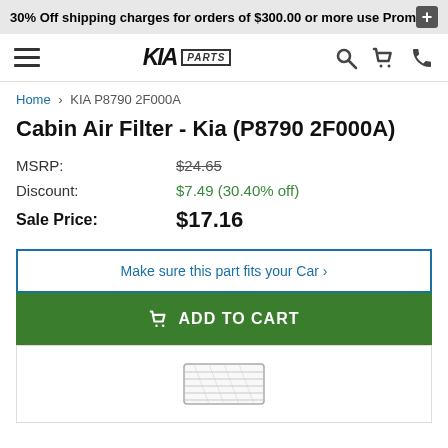30% Off shipping charges for orders of $300.00 or more use Prom
[Figure (screenshot): KIA Parts navigation bar with hamburger menu, KIA logo, search, cart, and phone icons]
Home › KIA P8790 2F000A
Cabin Air Filter - Kia (P8790 2F000A)
| Label | Value |
| --- | --- |
| MSRP: | $24.65 |
| Discount: | $7.49 (30.40% off) |
| Sale Price: | $17.16 |
Make sure this part fits your Car ›
ADD TO CART
[Figure (photo): Partial product image of a cabin air filter]